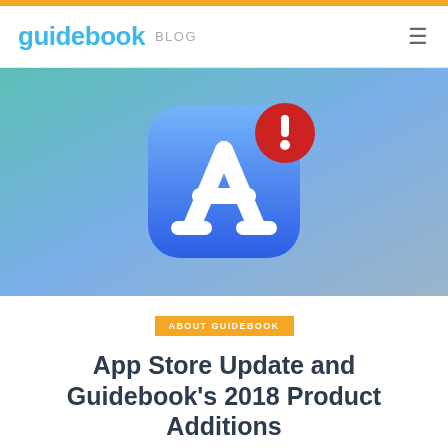guidebook BLOG
[Figure (illustration): Apple App Store icon with a blue gradient rounded-rectangle background showing a white compass/tools logo, and a red notification badge with an exclamation mark in the top-right corner, set against a teal/blue-grey gradient background.]
ABOUT GUIDEBOOK
App Store Update and Guidebook’s 2018 Product Additions